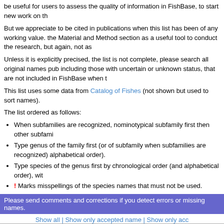be useful for users to assess the quality of information in FishBase, to start new work on th
But we appreciate to be cited in publications when this list has been of any working value. the Material and Method section as a useful tool to conduct the research, but again, not as
Unless it is explicitly precised, the list is not complete, please search all original names pub including those with uncertain or unknown status, that are not included in FishBase when t
This list uses some data from Catalog of Fishes (not shown but used to sort names).
The list ordered as follows:
When subfamilies are recognized, nominotypical subfamily first then other subfami
Type genus of the family first (or of subfamily when subfamilies are recognized) alphabetical order).
Type species of the genus first by chronological order (and alphabetical order), wit
! Marks misspellings of the species names that must not be used.
Please send comments and corrections if you detect errors or missing names.
Show all | Show only accepted name | Show only acc
Scientifc name
Pseudotriakis microdon de Brito Capello, 1868
Pseudotriakis acrales Jordan & Snyder, 1904
! Pseudotriakis acrages Jordan & Snyder, 1904
Gollum attenuatus (Garrick, 1954)
Triakis attenuata Garrick, 1954
! Gollum attenuatum (Garrick, 1954)
Gollum suluensis Last & Gaudiano, 2011